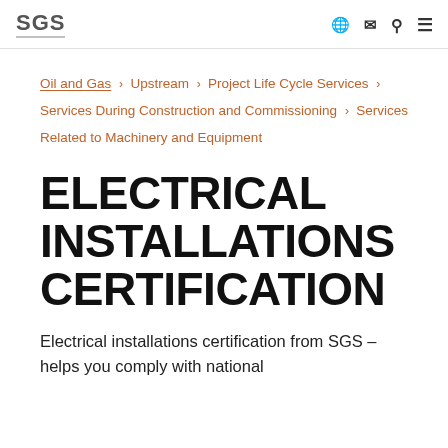SGS
Oil and Gas › Upstream › Project Life Cycle Services › Services During Construction and Commissioning › Services Related to Machinery and Equipment
ELECTRICAL INSTALLATIONS CERTIFICATION
Electrical installations certification from SGS – helps you comply with national